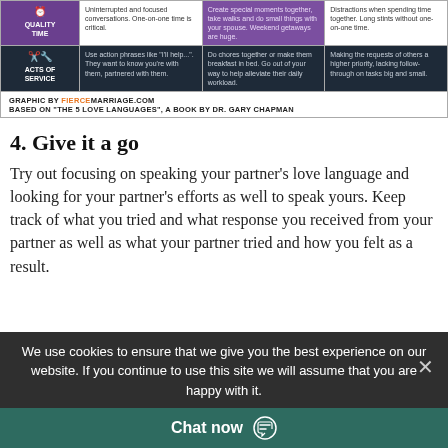[Figure (table-as-image): Infographic table showing Love Languages: Quality Time and Acts of Service rows with columns for label, description, examples, and what to avoid. Graphic by FierceMarriage.com based on 'The 5 Love Languages' by Dr. Gary Chapman.]
GRAPHIC BY FIERCEMARRIAGE.COM
BASED ON "THE 5 LOVE LANGUAGES", A BOOK BY DR. GARY CHAPMAN
4. Give it a go
Try out focusing on speaking your partner's love language and looking for your partner's efforts as well to speak yours. Keep track of what you tried and what response you received from your partner as well as what your partner tried and how you felt as a result.
We use cookies to ensure that we give you the best experience on our website. If you continue to use this site we will assume that you are happy with it.